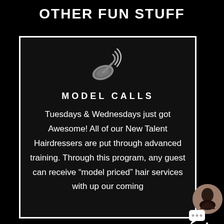OTHER FUN STUFF
[Figure (illustration): Satellite dish emoji icon in gray, broadcasting signal waves]
MODEL CALLS
Tuesdays & Wednesdays just got Awesome! All of our New Talent Hairdressers are put through advanced training. Through this program, any guest can receive “model priced” hair services with up our coming
[Figure (photo): Small circular avatar photo of a person with dark short hair, with a chat bubble icon overlay]